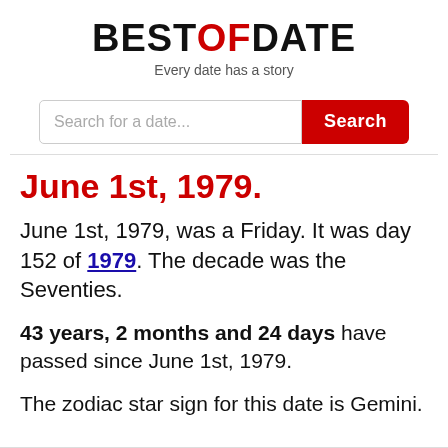BESTOFDATE
Every date has a story
Search for a date...
June 1st, 1979.
June 1st, 1979, was a Friday. It was day 152 of 1979. The decade was the Seventies.
43 years, 2 months and 24 days have passed since June 1st, 1979.
The zodiac star sign for this date is Gemini.